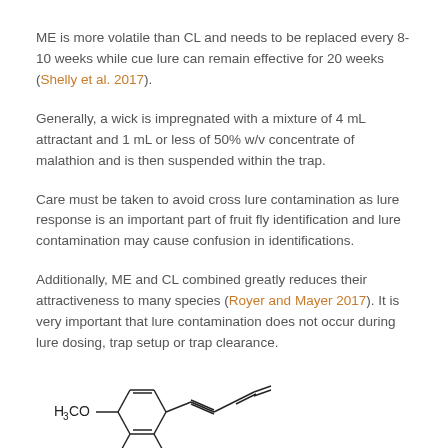ME is more volatile than CL and needs to be replaced every 8-10 weeks while cue lure can remain effective for 20 weeks (Shelly et al. 2017).
Generally, a wick is impregnated with a mixture of 4 mL attractant and 1 mL or less of 50% w/v concentrate of malathion and is then suspended within the trap.
Care must be taken to avoid cross lure contamination as lure response is an important part of fruit fly identification and lure contamination may cause confusion in identifications.
Additionally, ME and CL combined greatly reduces their attractiveness to many species (Royer and Mayer 2017). It is very important that lure contamination does not occur during lure dosing, trap setup or trap clearance.
[Figure (illustration): Partial chemical structure diagram showing H3CO group attached to a benzene ring with an allyl side chain, representing methyl eugenol (ME) chemical structure.]